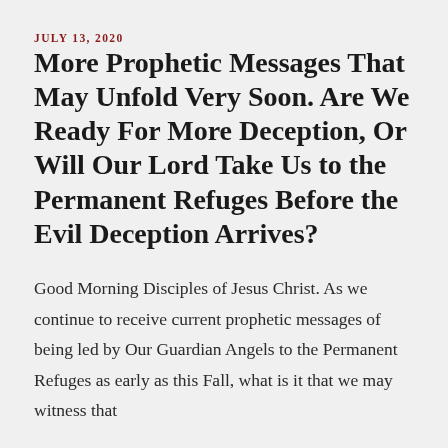JULY 13, 2020
More Prophetic Messages That May Unfold Very Soon. Are We Ready For More Deception, Or Will Our Lord Take Us to the Permanent Refuges Before the Evil Deception Arrives?
Good Morning Disciples of Jesus Christ. As we continue to receive current prophetic messages of being led by Our Guardian Angels to the Permanent Refuges as early as this Fall, what is it that we may witness that